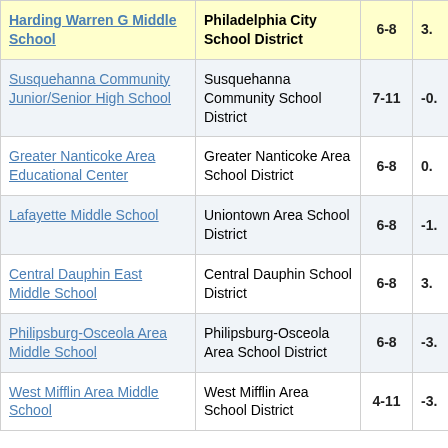| School | District | Grades | Value |
| --- | --- | --- | --- |
| Harding Warren G Middle School | Philadelphia City School District | 6-8 | 3. |
| Susquehanna Community Junior/Senior High School | Susquehanna Community School District | 7-11 | -0. |
| Greater Nanticoke Area Educational Center | Greater Nanticoke Area School District | 6-8 | 0. |
| Lafayette Middle School | Uniontown Area School District | 6-8 | -1. |
| Central Dauphin East Middle School | Central Dauphin School District | 6-8 | 3. |
| Philipsburg-Osceola Area Middle School | Philipsburg-Osceola Area School District | 6-8 | -3. |
| West Mifflin Area Middle School | West Mifflin Area School District | 4-11 | -3. |